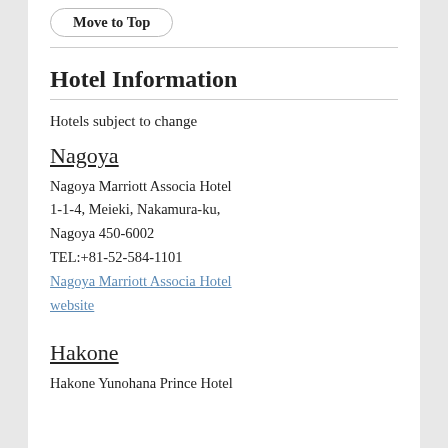Move to Top
Hotel Information
Hotels subject to change
Nagoya
Nagoya Marriott Associa Hotel
1-1-4, Meieki, Nakamura-ku, Nagoya 450-6002
TEL:+81-52-584-1101
Nagoya Marriott Associa Hotel website
Hakone
Hakone Yunohana Prince Hotel